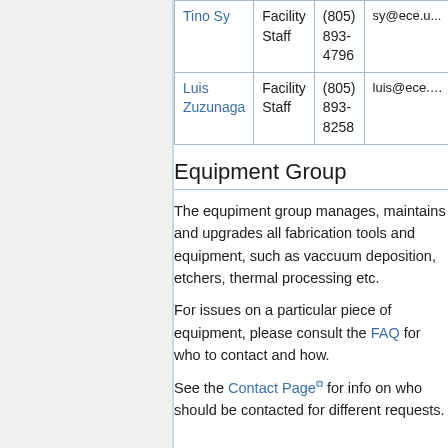| Name | Role | Phone | Email |
| --- | --- | --- | --- |
| Tino Sy | Facility Staff | (805) 893-4796 | sy@ece.u... |
| Luis Zuzunaga | Facility Staff | (805) 893-8258 | luis@ece.... |
Equipment Group
The equpiment group manages, maintains and upgrades all fabrication tools and equipment, such as vaccuum deposition, etchers, thermal processing etc.
For issues on a particular piece of equipment, please consult the FAQ for who to contact and how.
See the Contact Page for info on who should be contacted for different requests.